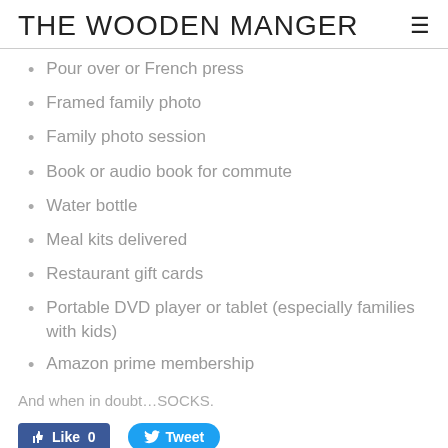THE WOODEN MANGER
Pour over or French press
Framed family photo
Family photo session
Book or audio book for commute
Water bottle
Meal kits delivered
Restaurant gift cards
Portable DVD player or tablet (especially families with kids)
Amazon prime membership
And when in doubt…SOCKS.